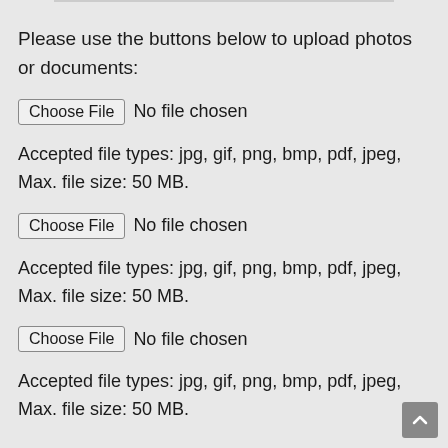Please use the buttons below to upload photos or documents:
[Figure (screenshot): File upload widget 1: Choose File button with 'No file chosen' text]
Accepted file types: jpg, gif, png, bmp, pdf, jpeg, Max. file size: 50 MB.
[Figure (screenshot): File upload widget 2: Choose File button with 'No file chosen' text]
Accepted file types: jpg, gif, png, bmp, pdf, jpeg, Max. file size: 50 MB.
[Figure (screenshot): File upload widget 3: Choose File button with 'No file chosen' text]
Accepted file types: jpg, gif, png, bmp, pdf, jpeg, Max. file size: 50 MB.